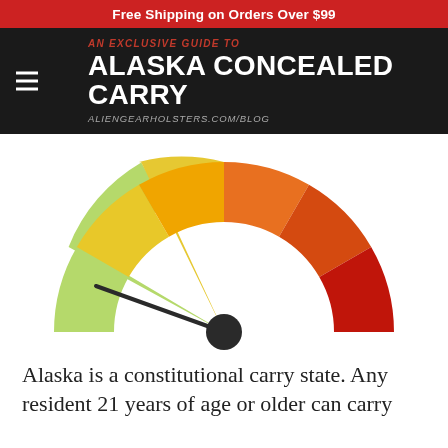Free Shipping on Orders Over $99
AN EXCLUSIVE GUIDE TO ALASKA CONCEALED CARRY
ALIENGEARHOLSTERS.COM/BLOG
[Figure (infographic): Speedometer/gauge graphic showing a dial pointing to the lower-left (easy/permissive) segment. The gauge arc is colored from left to right: light green, yellow-green, yellow, orange, dark orange, red. The needle points toward the light green section.]
Alaska is a constitutional carry state. Any resident 21 years of age or older can carry